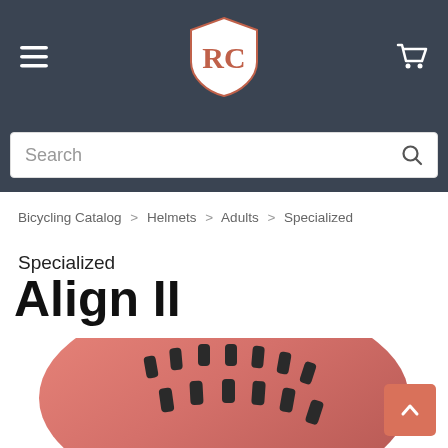RC (logo) - navigation header with hamburger menu and cart icon
Search
Bicycling Catalog > Helmets > Adults > Specialized
Specialized Align II
[Figure (photo): Pink/salmon colored Specialized Align II bicycle helmet viewed from the side, showing ventilation slots and interior padding]